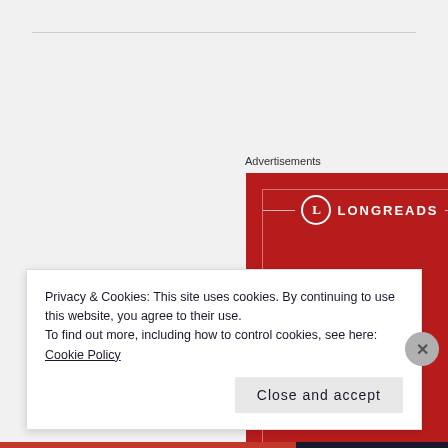Advertisements
[Figure (logo): Longreads advertisement banner - red background with white Longreads logo (L in circle) and white dashes, partial text at bottom]
Privacy & Cookies: This site uses cookies. By continuing to use this website, you agree to their use.
To find out more, including how to control cookies, see here: Cookie Policy
Close and accept